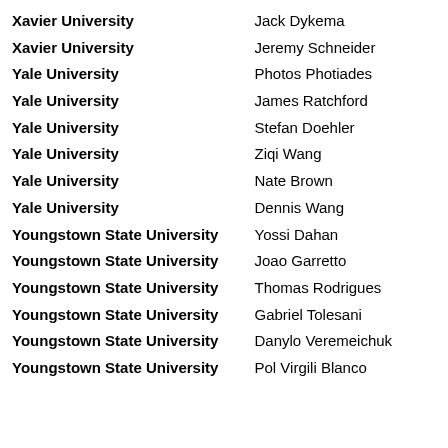| University | Name |
| --- | --- |
| Xavier University | Jack Dykema |
| Xavier University | Jeremy Schneider |
| Yale University | Photos Photiades |
| Yale University | James Ratchford |
| Yale University | Stefan Doehler |
| Yale University | Ziqi Wang |
| Yale University | Nate Brown |
| Yale University | Dennis Wang |
| Youngstown State University | Yossi Dahan |
| Youngstown State University | Joao Garretto |
| Youngstown State University | Thomas Rodrigues |
| Youngstown State University | Gabriel Tolesani |
| Youngstown State University | Danylo Veremeichuk |
| Youngstown State University | Pol Virgili Blanco |